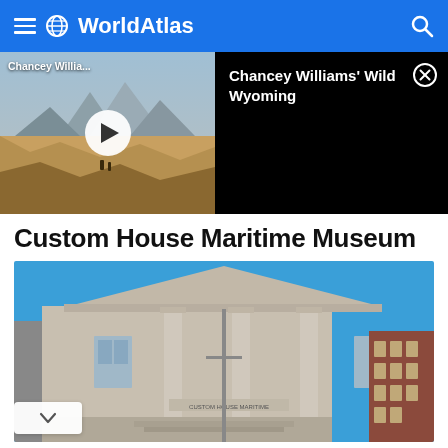WorldAtlas
[Figure (screenshot): Video thumbnail showing a wilderness landscape with mountains and a play button overlay, labeled 'Chancey Willia...' with sidebar showing 'Chancey Williams' Wild Wyoming' title and a close button]
Custom House Maritime Museum
[Figure (photo): Photograph of the Custom House Maritime Museum building — a large neoclassical granite building with columns and pediment, set against a clear blue sky, with a brick building visible to the right]